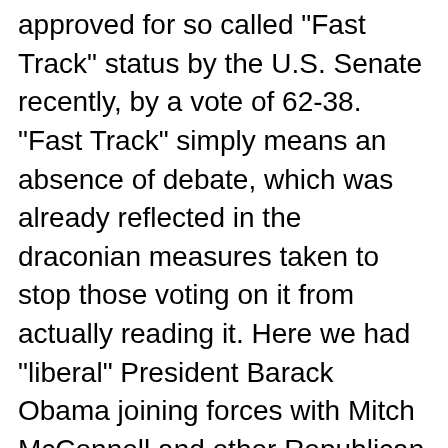approved for so called "Fast Track" status by the U.S. Senate recently, by a vote of 62-38. "Fast Track" simply means an absence of debate, which was already reflected in the draconian measures taken to stop those voting on it from actually reading it. Here we had "liberal" President Barack Obama joining forces with Mitch McConnell and other Republican "opponents" to ram this odious bill through without any delay. House Majority Whip Rep. Steve Scalise and Rules Committee Chairman Pete Sessions both refused to acknowledge whether they'd bothered to read the massive piece of legislation, but still declared that they were going to support their alleged "opponent" Obama's request to fast track the deal, which doesn't bode well for the House's